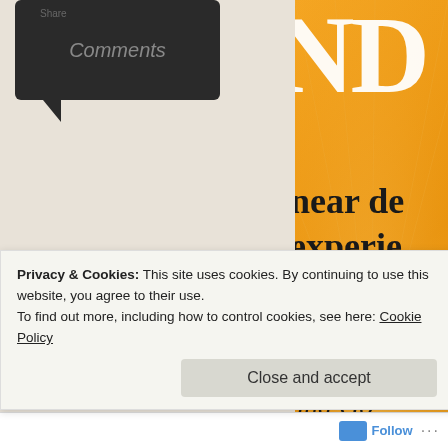[Figure (screenshot): Dark speech bubble icon with the word 'Comments' in italic gray text, with a small 'Share' label above it, on a light wood-texture background. To the right is a partially visible orange book cover showing 'NDE', 'near de...', 'experie...', 'and AWARE...', a divider line, 'proof of the...' and 'and Go...' in bold and italic text on an orange sunburst background.]
Privacy & Cookies: This site uses cookies. By continuing to use this website, you agree to their use.
To find out more, including how to control cookies, see here: Cookie Policy
Close and accept
Follow